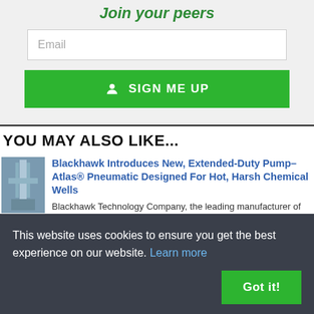Join your peers
Email
SIGN ME UP
YOU MAY ALSO LIKE...
Blackhawk Introduces New, Extended-Duty Pump–Atlas® Pneumatic Designed For Hot, Harsh Chemical Wells
Blackhawk Technology Company, the leading manufacturer of
This website uses cookies to ensure you get the best experience on our website. Learn more
Got it!